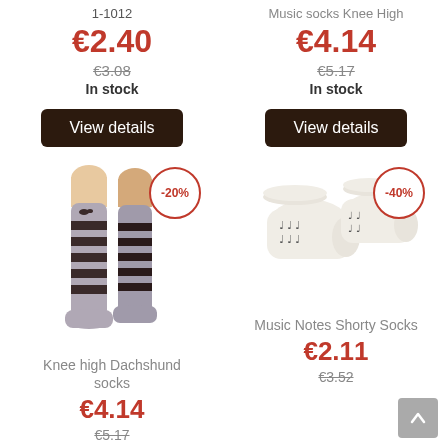1-1012
€2.40
€3.08
In stock
View details
Music socks Knee High
€4.14
€5.17
In stock
View details
[Figure (photo): Knee high dachshund striped socks, gray and black stripes, with -20% discount badge]
[Figure (photo): Music notes shorty ankle socks, cream/white with music note pattern, with -40% discount badge]
Knee high Dachshund socks
€4.14
€5.17
Music Notes Shorty Socks
€2.11
€3.52